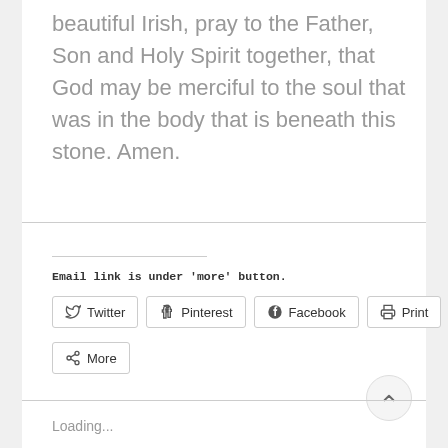beautiful Irish, pray to the Father, Son and Holy Spirit together, that God may be merciful to the soul that was in the body that is beneath this stone. Amen.
Email link is under 'more' button.
[Figure (screenshot): Social sharing buttons: Twitter, Pinterest, Facebook, Print, More]
Loading...